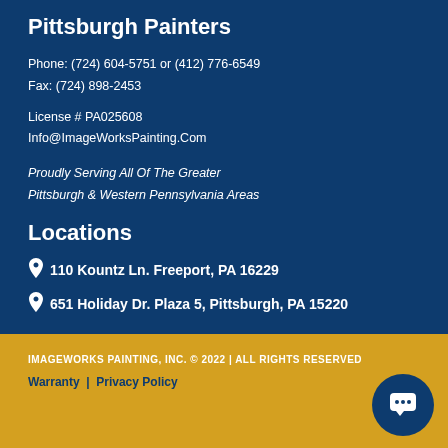Pittsburgh Painters
Phone: (724) 604-5751 or (412) 776-6549
Fax: (724) 898-2453
License # PA025608
Info@ImageWorksPainting.Com
Proudly Serving All Of The Greater Pittsburgh & Western Pennsylvania Areas
Locations
110 Kountz Ln. Freeport, PA 16229
651 Holiday Dr. Plaza 5, Pittsburgh, PA 15220
IMAGEWORKS PAINTING, INC. © 2022 | ALL RIGHTS RESERVED
Warranty | Privacy Policy